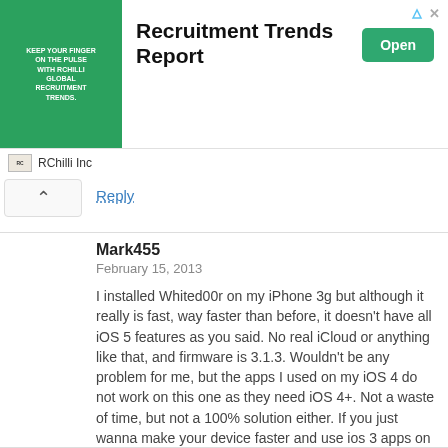[Figure (screenshot): Advertisement banner for RChilli Inc promoting 'Recruitment Trends Report' with a green image on the left, bold title text in center, and an 'Open' green button on the right. Footer shows RChilli Inc logo and name.]
Reply
Mark455
February 15, 2013
I installed Whited00r on my iPhone 3g but although it really is fast, way faster than before, it doesn't have all iOS 5 features as you said. No real iCloud or anything like that, and firmware is 3.1.3. Wouldn't be any problem for me, but the apps I used on my iOS 4 do not work on this one as they need iOS 4+. Not a waste of time, but not a 100% solution either. If you just wanna make your device faster and use ios 3 apps on it, go ahead and download this, but if you use iOS 4+ apps, you won't be able to do that anymore.
Reply